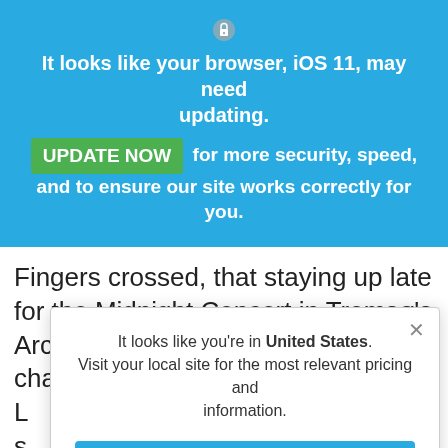[Figure (screenshot): Lock/shield icon at top of blue browser update banner]
It looks like your browser, iOS 11, may need updating.
UPDATE NOW for more security, speed, and to ensure our site works correctly for you.
Fingers crossed, that staying up late for the Midnight Concert in Tromsø's Arctic Cathedral allows you the chance to see the Northern L s a p e w
It looks like you're in United States. Visit your local site for the most relevant pricing and information.
Switch to United States